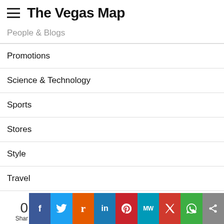The Vegas Map
People & Blogs
Promotions
Science & Technology
Sports
Stores
Style
Travel
Travel & Events
[Figure (screenshot): Social sharing bar with icons for Facebook, Twitter, Reddit, LinkedIn, Pinterest, MW, Mix, WhatsApp, and a share icon, with a count of 0 shares]